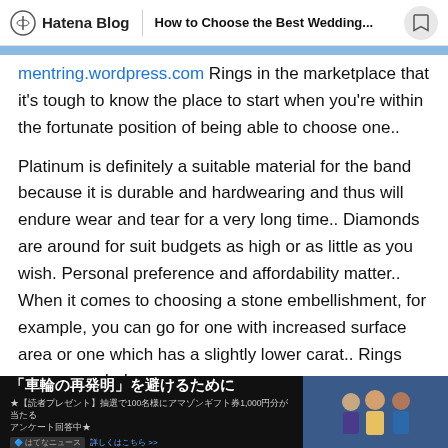Hatena Blog | How to Choose the Best Wedding...
mentring.wordpress.com Rings in the marketplace that it's tough to know the place to start when you're within the fortunate position of being able to choose one..
Platinum is definitely a suitable material for the band because it is durable and hardwearing and thus will endure wear and tear for a very long time.. Diamonds are around for suit budgets as high or as little as you wish. Personal preference and affordability matter.. When it comes to choosing a stone embellishment, for example, you can go for one with increased surface area or one which has a slightly lower carat.. Rings were regarded as
[Figure (screenshot): Japanese advertisement banner with text '車輪の再発明' を避けるために and a photo of three people on the right side]